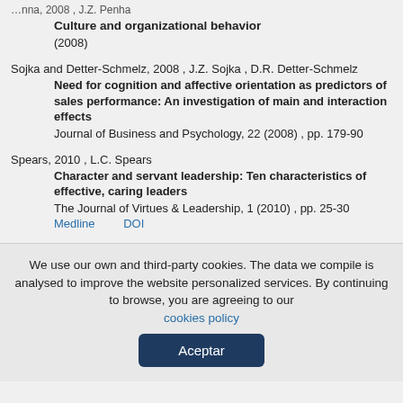Culture and organizational behavior
(2008)
Sojka and Detter-Schmelz, 2008 , J.Z. Sojka , D.R. Detter-Schmelz
Need for cognition and affective orientation as predictors of sales performance: An investigation of main and interaction effects
Journal of Business and Psychology, 22 (2008) , pp. 179-90
Spears, 2010 , L.C. Spears
Character and servant leadership: Ten characteristics of effective, caring leaders
The Journal of Virtues & Leadership, 1 (2010) , pp. 25-30
Medline    DOI
We use our own and third-party cookies. The data we compile is analysed to improve the website personalized services. By continuing to browse, you are agreeing to our cookies policy
Aceptar